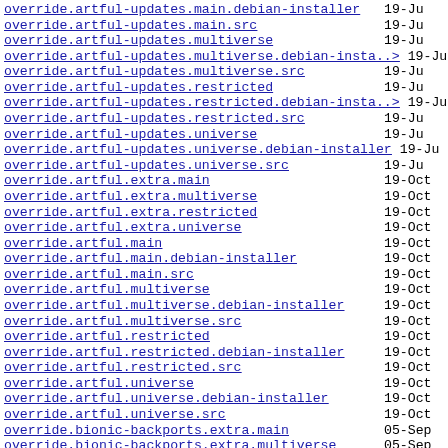override.artful-updates.main.debian-installer 19-Ju
override.artful-updates.main.src 19-Ju
override.artful-updates.multiverse 19-Ju
override.artful-updates.multiverse.debian-insta..> 19-Ju
override.artful-updates.multiverse.src 19-Ju
override.artful-updates.restricted 19-Ju
override.artful-updates.restricted.debian-insta..> 19-Ju
override.artful-updates.restricted.src 19-Ju
override.artful-updates.universe 19-Ju
override.artful-updates.universe.debian-installer 19-Ju
override.artful-updates.universe.src 19-Ju
override.artful.extra.main 19-Oct
override.artful.extra.multiverse 19-Oct
override.artful.extra.restricted 19-Oct
override.artful.extra.universe 19-Oct
override.artful.main 19-Oct
override.artful.main.debian-installer 19-Oct
override.artful.main.src 19-Oct
override.artful.multiverse 19-Oct
override.artful.multiverse.debian-installer 19-Oct
override.artful.multiverse.src 19-Oct
override.artful.restricted 19-Oct
override.artful.restricted.debian-installer 19-Oct
override.artful.restricted.src 19-Oct
override.artful.universe 19-Oct
override.artful.universe.debian-installer 19-Oct
override.artful.universe.src 19-Oct
override.bionic-backports.extra.main 05-Sep
override.bionic-backports.extra.multiverse 05-Sep
override.bionic-backports.extra.restricted 05-Sep